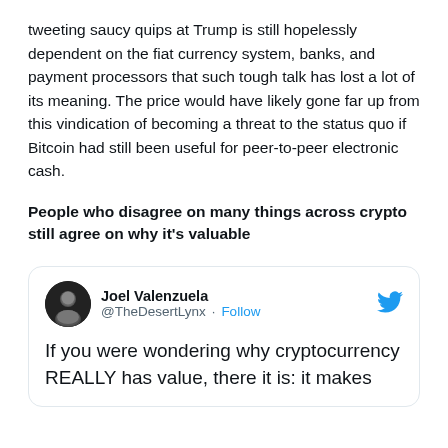tweeting saucy quips at Trump is still hopelessly dependent on the fiat currency system, banks, and payment processors that such tough talk has lost a lot of its meaning. The price would have likely gone far up from this vindication of becoming a threat to the status quo if Bitcoin had still been useful for peer-to-peer electronic cash.
People who disagree on many things across crypto still agree on why it's valuable
[Figure (screenshot): Embedded tweet card from Joel Valenzuela (@TheDesertLynx) with Follow button and Twitter bird icon. Tweet text reads: 'If you were wondering why cryptocurrency REALLY has value, there it is: it makes']